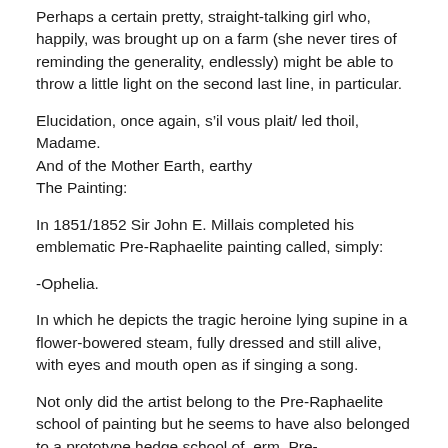Perhaps a certain pretty, straight-talking girl who, happily, was brought up on a farm (she never tires of reminding the generality, endlessly) might be able to throw a little light on the second last line, in particular.
Elucidation, once again, s’il vous plait/ led thoil, Madame.
And of the Mother Earth, earthy
The Painting:
In 1851/1852 Sir John E. Millais completed his emblematic Pre-Raphaelite painting called, simply:
-Ophelia.
In which he depicts the tragic heroine lying supine in a flower-bowered steam, fully dressed and still alive, with eyes and mouth open as if singing a song.
Not only did the artist belong to the Pre-Raphaelite school of painting but he seems to have also belonged to a prototype hedge school of, erm, Pre-Remembrance Peep O’Day Boys. If one is to judge by the inclusion in the canvas of a particular flower not namechecked by the original poet: